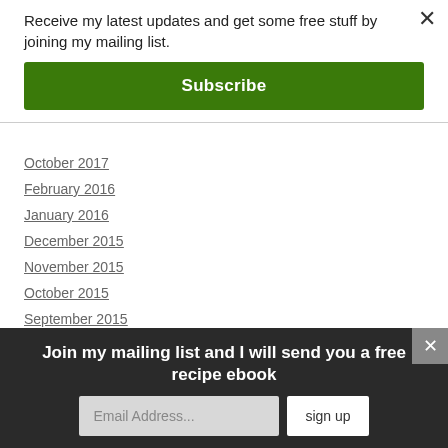Receive my latest updates and get some free stuff by joining my mailing list.
Subscribe
October 2017
February 2016
January 2016
December 2015
November 2015
October 2015
September 2015
August 2015
Join my mailing list and I will send you a free recipe ebook
Email Address...
sign up